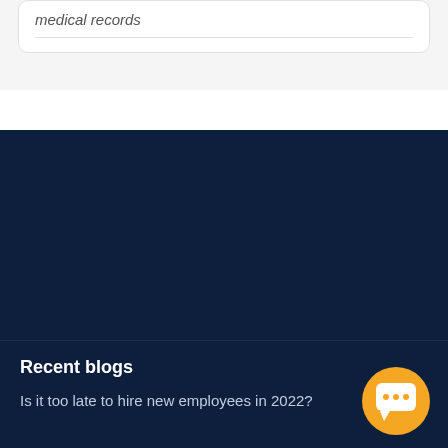medical records
Recent blogs
Is it too late to hire new employees in 2022?